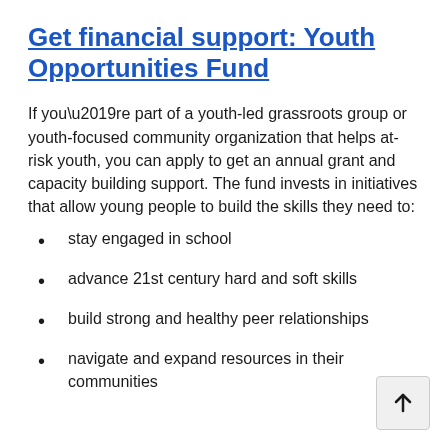Get financial support: Youth Opportunities Fund
If you’re part of a youth-led grassroots group or youth-focused community organization that helps at-risk youth, you can apply to get an annual grant and capacity building support. The fund invests in initiatives that allow young people to build the skills they need to:
stay engaged in school
advance 21st century hard and soft skills
build strong and healthy peer relationships
navigate and expand resources in their communities